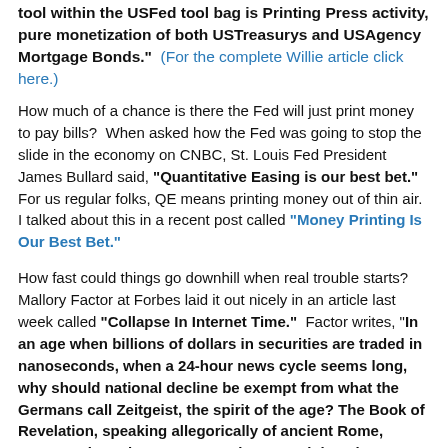tool within the USFed tool bag is Printing Press activity, pure monetization of both USTreasurys and USAgency Mortgage Bonds."  (For the complete Willie article click here.)
How much of a chance is there the Fed will just print money to pay bills?  When asked how the Fed was going to stop the slide in the economy on CNBC, St. Louis Fed President James Bullard said, "Quantitative Easing is our best bet."  For us regular folks, QE means printing money out of thin air.  I talked about this in a recent post called "Money Printing Is Our Best Bet."
How fast could things go downhill when real trouble starts?  Mallory Factor at Forbes laid it out nicely in an article last week called "Collapse In Internet Time."  Factor writes, "In an age when billions of dollars in securities are traded in nanoseconds, when a 24-hour news cycle seems long, why should national decline be exempt from what the Germans call Zeitgeist, the spirit of the age? The Book of Revelation, speaking allegorically of ancient Rome, states, "Alas! Alas! You great city, you mighty city, Babylon! For in a single hour your judgment has come." Ancient Rome surely did not expect its sudden fall any more than the